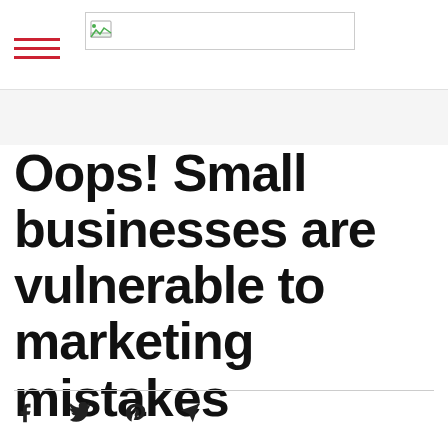[logo image]
Oops! Small businesses are vulnerable to marketing mistakes
[Figure (infographic): Social sharing icons: Facebook, Twitter, Pinterest, Telegram/Send]